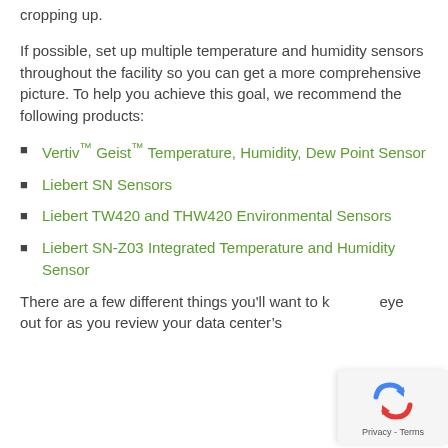cropping up.
If possible, set up multiple temperature and humidity sensors throughout the facility so you can get a more comprehensive picture. To help you achieve this goal, we recommend the following products:
Vertiv™ Geist™ Temperature, Humidity, Dew Point Sensor
Liebert SN Sensors
Liebert TW420 and THW420 Environmental Sensors
Liebert SN-Z03 Integrated Temperature and Humidity Sensor
There are a few different things you'll want to keep an eye out for as you review your data center's